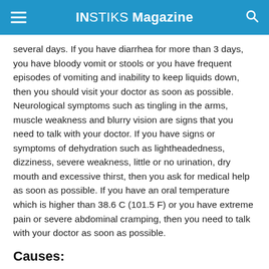INSTIKS Magazine
several days. If you have diarrhea for more than 3 days, you have bloody vomit or stools or you have frequent episodes of vomiting and inability to keep liquids down, then you should visit your doctor as soon as possible. Neurological symptoms such as tingling in the arms, muscle weakness and blurry vision are signs that you need to talk with your doctor. If you have signs or symptoms of dehydration such as lightheadedness, dizziness, severe weakness, little or no urination, dry mouth and excessive thirst, then you ask for medical help as soon as possible. If you have an oral temperature which is higher than 38.6 C (101.5 F) or you have extreme pain or severe abdominal cramping, then you need to talk with your doctor as soon as possible.
Causes:
Contamination of food can happen at any point during its production in which is included: preparing, shipping,